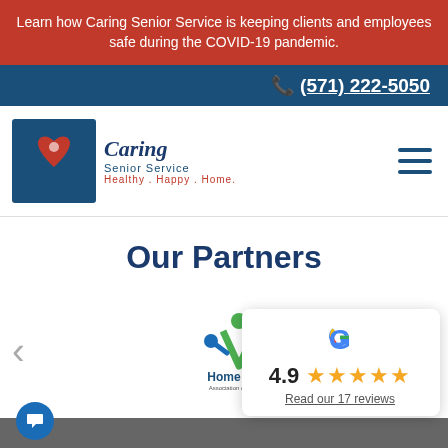Learn how Caring Senior Service is keeping clients and employees safe during the COVID-19 pandemic.
(571) 222-5050
[Figure (logo): Caring Senior Service logo with red heart and blue square, text 'Caring Senior Service - Healthy . Happy . Home.']
Our Partners
[Figure (logo): Home Care Association of America logo with green and blue figures]
[Figure (other): Google review card showing 4.9 rating with 5 gold stars and 'Read our 17 reviews' link]